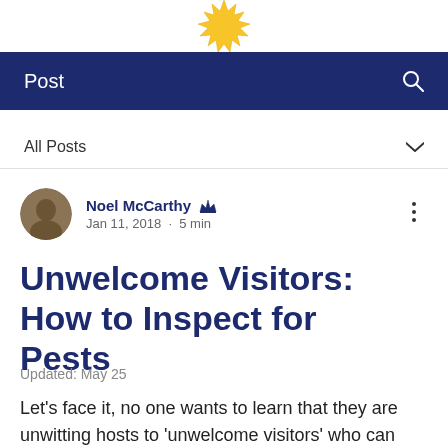[Figure (illustration): Yellow spiky sun/star logo at the top center of the page]
Post
All Posts
Noel McCarthy  Jan 11, 2018  ·  5 min
Unwelcome Visitors: How to Inspect for Pests
Updated: May 25
Let's face it, no one wants to learn that they are unwitting hosts to 'unwelcome visitors' who can make their way into the home to take a...